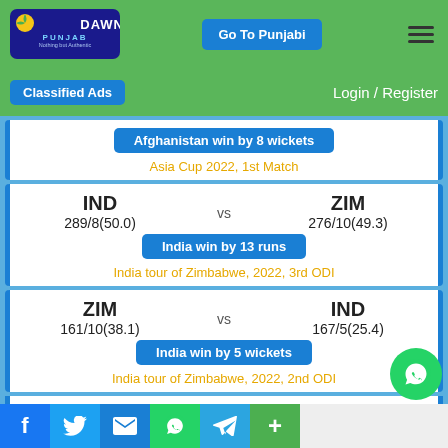[Figure (logo): Dawn Punjab logo - dark blue rounded rectangle with sun graphic, text DAWN PUNJAB, tagline Nothing but Authentic]
Go To Punjabi | ≡
Classified Ads | Login / Register
Afghanistan win by 8 wickets
Asia Cup 2022, 1st Match
IND vs ZIM
289/8(50.0)  276/10(49.3)
India win by 13 runs
India tour of Zimbabwe, 2022, 3rd ODI
ZIM vs IND
161/10(38.1)  167/5(25.4)
India win by 5 wickets
India tour of Zimbabwe, 2022, 2nd ODI
IND